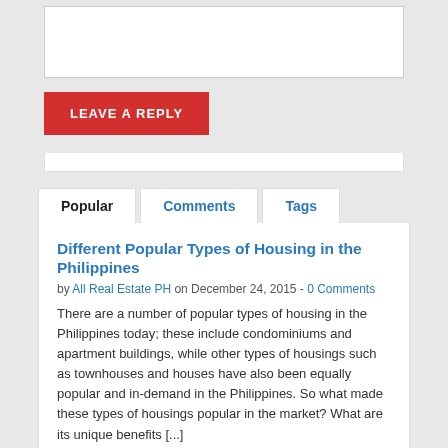[Comment text area input box]
LEAVE A REPLY
Popular | Comments | Tags
Different Popular Types of Housing in the Philippines
by All Real Estate PH on December 24, 2015 - 0 Comments
There are a number of popular types of housing in the Philippines today; these include condominiums and apartment buildings, while other types of housings such as townhouses and houses have also been equally popular and in-demand in the Philippines. So what made these types of housings popular in the market? What are its unique benefits [...]
Other Types of Modern Housing in the Philippines
by All Real Estate PH on December 23, 2015 - 0 Comments
According to many Filipinos, condominiums are some of the best